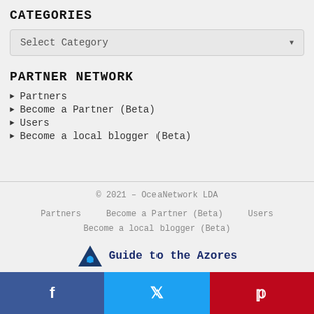CATEGORIES
[Figure (other): Dropdown select box labeled 'Select Category' with a down arrow]
PARTNER NETWORK
Partners
Become a Partner (Beta)
Users
Become a local blogger (Beta)
© 2021 – OceaNetwork LDA
Partners    Become a Partner (Beta)    Users
Become a local blogger (Beta)
Guide to the Azores